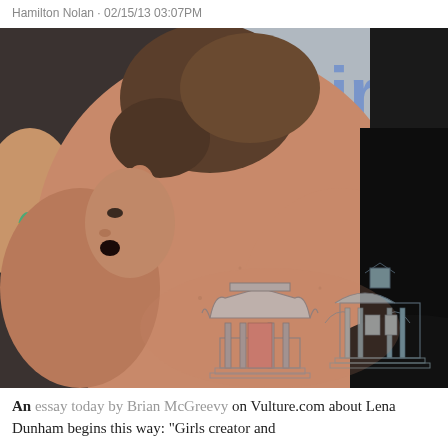Hamilton Nolan · 02/15/13 03:07PM
[Figure (photo): Close-up photo of a woman (Lena Dunham) showing her upper back with a detailed architectural tattoo depicting buildings/houses. She has short brown hair and a small stud earring. Another person in a black outfit is partially visible on the right. In the background is a sign with blue text reading 'girls'. Another person with green dangling earrings is partially visible on the left.]
An essay today by Brian McGreevy on Vulture.com about Lena Dunham begins this way: "Girls creator and